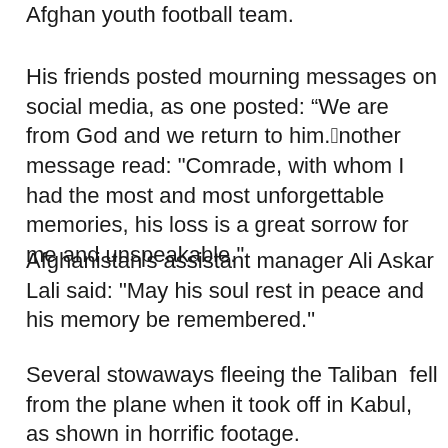Afghan youth football team.
His friends posted mourning messages on social media, as one posted: “We are from God and we return to him.”Another message read: "Comrade, with whom I had the most and most unforgettable memories, his loss is a great sorrow for me and unspeakable."
Afghanistan's assistant manager Ali Askar Lali said: "May his soul rest in peace and his memory be remembered."
Several stowaways fleeing the Taliban  fell from the plane when it took off in Kabul, as shown in horrific footage.
■ Read our Afghanistan live blog for the latest updates
In a bid to flee what they fear will be a return to